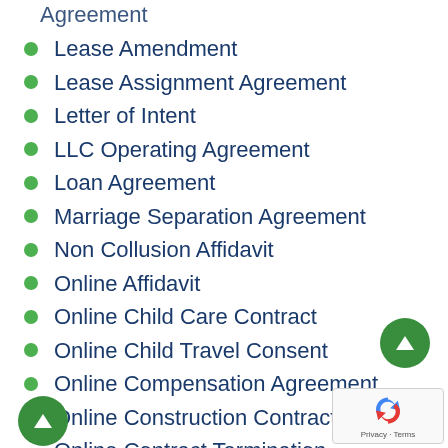Agreement
Lease Amendment
Lease Assignment Agreement
Letter of Intent
LLC Operating Agreement
Loan Agreement
Marriage Separation Agreement
Non Collusion Affidavit
Online Affidavit
Online Child Care Contract
Online Child Travel Consent
Online Compensation Agreement
Online Construction Contract
Online Contract Termination Agreement
Online Employment Contract
Online Employment Termination Letter